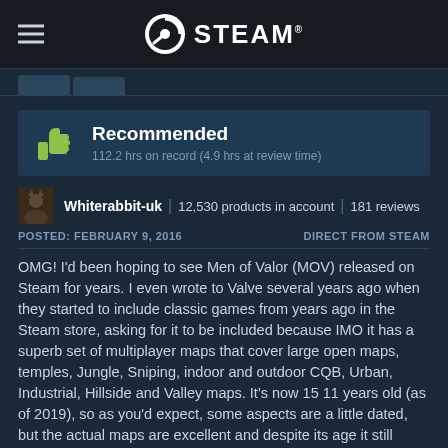STEAM®
Recommended
112.2 hrs on record (4.9 hrs at review time)
Whiterabbit-uk | 12,530 products in account | 181 reviews
POSTED: FEBRUARY 9, 2016    DIRECT FROM STEAM
OMG! I'd been hoping to see Men of Valor (MOV) released on Steam for years. I even wrote to Valve several years ago when they started to include classic games from years ago in the Steam store, asking for it to be included because IMO it has a superb set of multiplayer maps that cover large open maps, temples, Jungle, Sniping, indoor and outdoor CQB, Urban, Industrial, Hillside and Valley maps. It's now 15 11 years old (as of 2019), so as you'd expect, some aspects are a little dated, but the actual maps are excellent and despite its age it still looks great. The original add-on map pack, that included an extra five multiplayer maps has been included with this